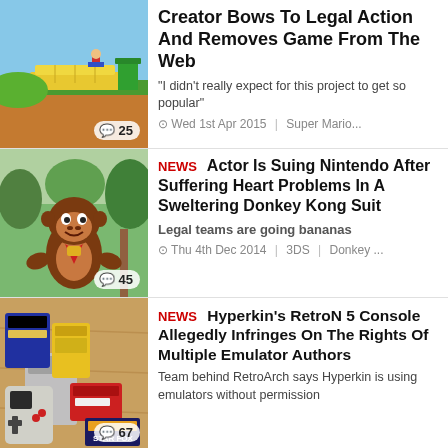[Figure (photo): Screenshot of a 3D Mario-style platformer game with green terrain, yellow platform, and a character figure]
Creator Bows To Legal Action And Removes Game From The Web
"I didn't really expect for this project to get so popular"
Wed 1st Apr 2015 | Super Mario...
[Figure (photo): Person wearing a Donkey Kong mascot costume standing outdoors near palm trees]
NEWS Actor Is Suing Nintendo After Suffering Heart Problems In A Sweltering Donkey Kong Suit
Legal teams are going bananas
Thu 4th Dec 2014 | 3DS | Donkey ...
[Figure (photo): Collection of retro game cartridges and controllers for various consoles on a wooden surface]
NEWS Hyperkin's RetroN 5 Console Allegedly Infringes On The Rights Of Multiple Emulator Authors
Team behind RetroArch says Hyperkin is using emulators without permission